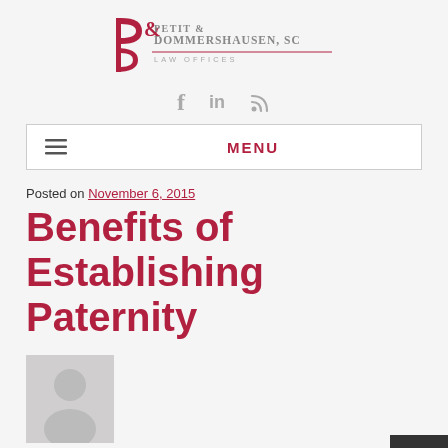[Figure (logo): Petit & Dommershausen, SC Law Offices logo with stylized P&D lettermark in dark red/maroon and gray serif text]
[Figure (infographic): Social media icons: Facebook (f), LinkedIn (in), and RSS feed symbol in gray]
MENU (navigation bar with hamburger icon)
Posted on November 6, 2015
Benefits of Establishing Paternity
[Figure (photo): Gray placeholder avatar/silhouette image of a person]
Written by
Tajara Dommershausen